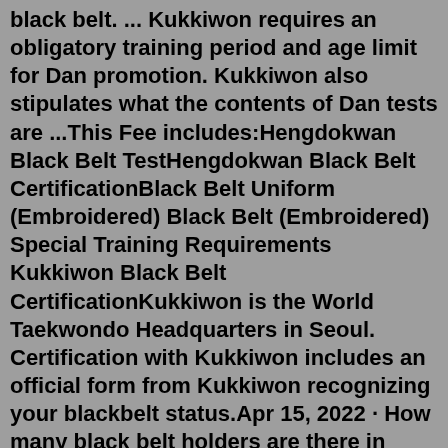black belt. ... Kukkiwon requires an obligatory training period and age limit for Dan promotion. Kukkiwon also stipulates what the contents of Dan tests are ...This Fee includes:Hengdokwan Black Belt TestHengdokwan Black Belt CertificationBlack Belt Uniform (Embroidered) Black Belt (Embroidered) Special Training Requirements Kukkiwon Black Belt CertificationKukkiwon is the World Taekwondo Headquarters in Seoul. Certification with Kukkiwon includes an official form from Kukkiwon recognizing your blackbelt status.Apr 15, 2022 · How many black belt holders are there in Kukkiwon?; Kukkiwon Dan (black belt) holders is estimated at 2.3 million persons all over the world as of the end of 1995. The Kukkiwon was constructed atop the hillside in Kangnam District in Seoul to house Taekwondo Related organizations and to provide Taekwondo practitioners and contestants with modern facilities, training, and competitions of Taekwondo. Apr 27, 2013 · 2,300,000 - the Kukkiwon conducts standardized dan promotion tests and issues black